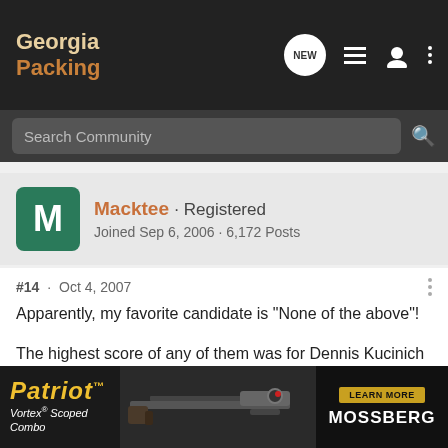Georgia Packing
Search Community
Macktee · Registered
Joined Sep 6, 2006 · 6,172 Posts
#14 · Oct 4, 2007
Apparently, my favorite candidate is "None of the above"!

The highest score of any of them was for Dennis Kucinich and he only scored 21 points. I've done several of these tests and that guy has always been my choice. Strange thing is, I don't know diddly-squat about the guy!

The pec... h 10 points w... hat's going o...
[Figure (screenshot): Advertisement for Patriot Vortex Scoped Combo featuring a Mossberg rifle with Learn More button]